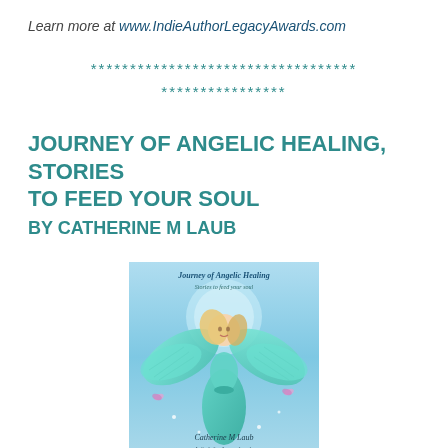Learn more at www.IndieAuthorLegacyAwards.com
**********************************
****************
JOURNEY OF ANGELIC HEALING, STORIES TO FEED YOUR SOUL
BY CATHERINE M LAUB
[Figure (illustration): Book cover of 'Journey of Angelic Healing, Stories to feed your soul' by Catherine M Laub, featuring a blonde angel woman in a teal dress with teal wings, surrounded by butterflies and sparkles on a blue background.]